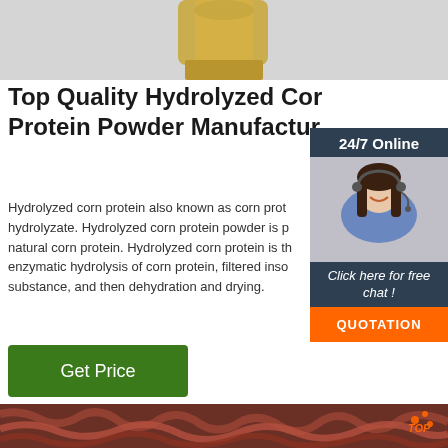[Figure (photo): Top portion of a product image - appears to be a glass bottle with golden/amber liquid on a grey background, partially cropped at top]
Top Quality Hydrolyzed Corn Protein Powder Manufacturer
Hydrolyzed corn protein also known as corn protein hydrolyzate. Hydrolyzed corn protein powder is produced from natural corn protein. Hydrolyzed corn protein is the product of enzymatic hydrolysis of corn protein, filtered insoluble substance, and then dehydration and drying.
[Figure (photo): Customer service representative - woman with headset smiling, shown in a chat widget overlay with '24/7 Online' header, 'Click here for free chat!' text, and orange QUOTATION button]
[Figure (illustration): Green 'Get Price' button]
[Figure (photo): Bottom image showing a pile of red/brown earthworms, with an orange 'TOP' logo watermark in bottom right corner]